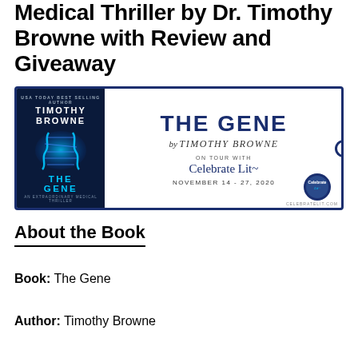Medical Thriller by Dr. Timothy Browne with Review and Giveaway
[Figure (illustration): Book tour banner for 'The Gene' by Timothy Browne on tour with Celebrate Lit, November 14-27, 2020. Shows book cover with DNA helix on left and title/tour info on right.]
About the Book
Book: The Gene
Author: Timothy Browne